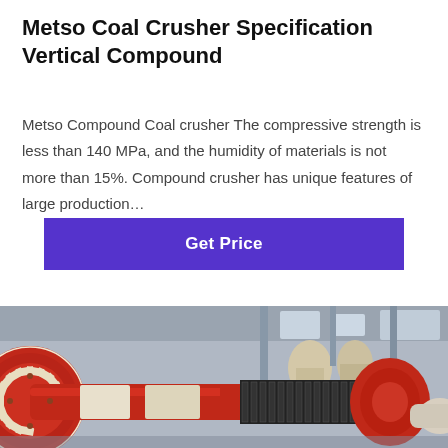Metso Coal Crusher Specification Vertical Compound
Metso Compound Coal crusher The compressive strength is less than 140 MPa, and the humidity of materials is not more than 15%. Compound crusher has unique features of large production…
[Figure (other): Purple 'Get Price' button]
[Figure (photo): Industrial coal crusher machinery — large red geared cylindrical mill/crusher components in a factory setting with other industrial equipment in background]